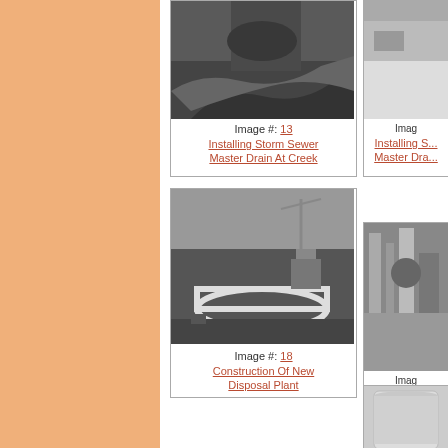[Figure (photo): Black and white photograph of storm sewer installation at a creek]
Image #: 13 Installing Storm Sewer Master Drain At Creek
[Figure (photo): Partial black and white photograph, installing storm sewer master drain (cropped right side)]
Image #: [partial] Installing S... Master Dra...
[Figure (photo): Black and white photograph of construction of new disposal plant showing circular foundation and crane]
Image #: 18 Construction Of New Disposal Plant
[Figure (photo): Partial black and white photograph showing interior of disposal plant with pipes and equipment]
Image #: [partial] Inside Of Di...
[Figure (photo): Partial black and white photograph showing cylindrical tank or structure at bottom right]